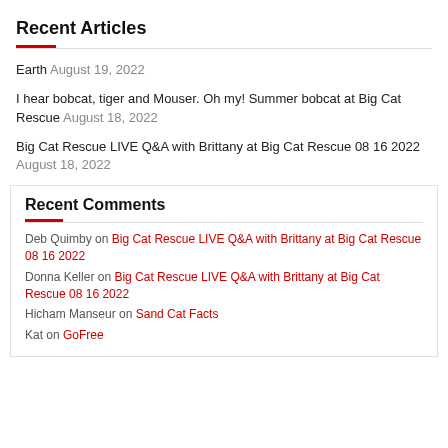Recent Articles
Earth August 19, 2022
I hear bobcat, tiger and Mouser. Oh my! Summer bobcat at Big Cat Rescue August 18, 2022
Big Cat Rescue LIVE Q&A with Brittany at Big Cat Rescue 08 16 2022 August 18, 2022
Recent Comments
Deb Quimby on Big Cat Rescue LIVE Q&A with Brittany at Big Cat Rescue 08 16 2022
Donna Keller on Big Cat Rescue LIVE Q&A with Brittany at Big Cat Rescue 08 16 2022
Hicham Manseur on Sand Cat Facts
Kat on GoFree